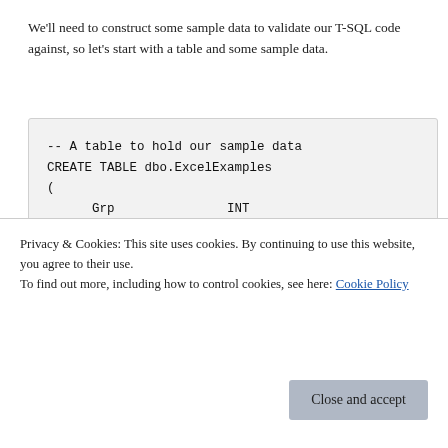We'll need to construct some sample data to validate our T-SQL code against, so let's start with a table and some sample data.
Privacy & Cookies: This site uses cookies. By continuing to use this website, you agree to their use.
To find out more, including how to control cookies, see here: Cookie Policy